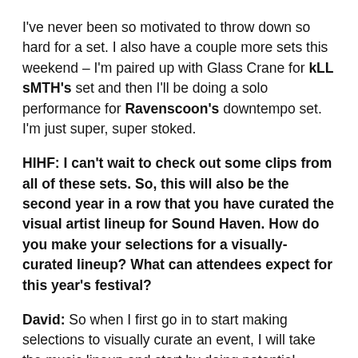I've never been so motivated to throw down so hard for a set. I also have a couple more sets this weekend – I'm paired up with Glass Crane for kLL sMTH's set and then I'll be doing a solo performance for Ravenscoon's downtempo set. I'm just super, super stoked.
HIHF: I can't wait to check out some clips from all of these sets. So, this will also be the second year in a row that you have curated the visual artist lineup for Sound Haven. How do you make your selections for a visually-curated lineup? What can attendees expect for this year's festival?
David: So when I first go in to start making selections to visually curate an event, I will take the music lineup and start by doing potential pairings to make sure that we have visual artists who can fit the vibe for all of the different music being played. Each visual artist has a different style, some are better suited for darker, heavier stuff while others will do better with slower, lighter stuff. It all depends on their